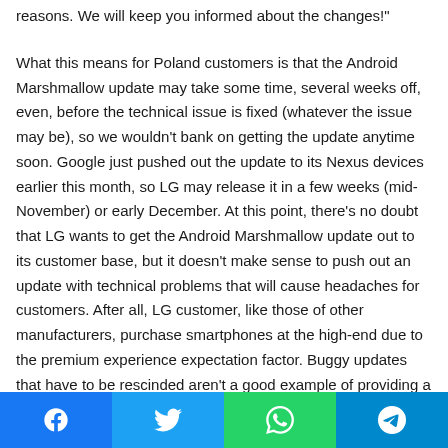reasons. We will keep you informed about the changes!"
What this means for Poland customers is that the Android Marshmallow update may take some time, several weeks off, even, before the technical issue is fixed (whatever the issue may be), so we wouldn't bank on getting the update anytime soon. Google just pushed out the update to its Nexus devices earlier this month, so LG may release it in a few weeks (mid-November) or early December. At this point, there's no doubt that LG wants to get the Android Marshmallow update out to its customer base, but it doesn't make sense to push out an update with technical problems that will cause headaches for customers. After all, LG customer, like those of other manufacturers, purchase smartphones at the high-end due to the premium experience expectation factor. Buggy updates that have to be rescinded aren't a good example of providing a
Facebook | Twitter | WhatsApp | Telegram